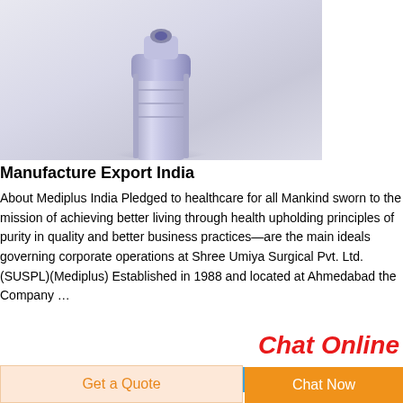[Figure (photo): Close-up photo of a syringe tip/needle cap against a light gray-white background]
Manufacture Export India
About Mediplus India Pledged to healthcare for all Mankind sworn to the mission of achieving better living through health upholding principles of purity in quality and better business practices—are the main ideals governing corporate operations at Shree Umiya Surgical Pvt. Ltd. (SUSPL)(Mediplus) Established in 1988 and located at Ahmedabad the Company …
Chat Online
Dynarex
Get a Quote
Chat Now